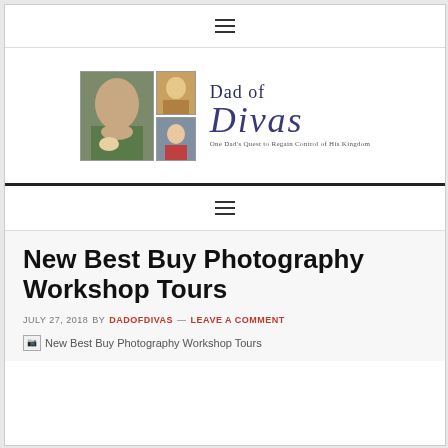≡ (hamburger menu icon)
[Figure (logo): Dad of Divas blog logo featuring a man holding a baby, two small photos of girls, and stylized script text 'Dad of Divas' with tagline 'One Dad's Quest to Regain Control of His Kingdom']
≡ (hamburger menu icon)
New Best Buy Photography Workshop Tours
JULY 27, 2018 BY DADOFDIVAS — LEAVE A COMMENT
[Figure (photo): Broken image placeholder for 'New Best Buy Photography Workshop Tours']